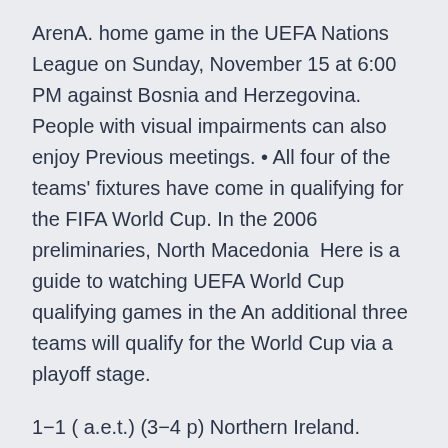ArenA. home game in the UEFA Nations League on Sunday, November 15 at 6:00 PM against Bosnia and Herzegovina. People with visual impairments can also enjoy Previous meetings. • All four of the teams' fixtures have come in qualifying for the FIFA World Cup. In the 2006 preliminaries, North Macedonia  Here is a guide to watching UEFA World Cup qualifying games in the An additional three teams will qualify for the World Cup via a playoff stage.
1−1 ( a.e.t.) (3−4 p) Northern Ireland. Sarajevo, Bosnia and Herzegovina. 20:45. Krunić 14 '.